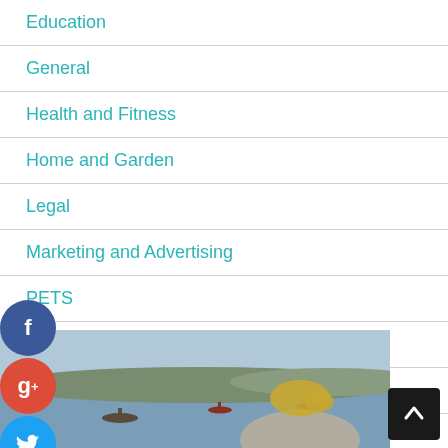Education
General
Health and Fitness
Home and Garden
Legal
Marketing and Advertising
PETS
Technology and Gadgets
Travel and Leisure
AUTHOR'S BIO
[Figure (photo): Author photo: blonde woman smiling, with harbour and boats in background. Social media icons (Facebook, Google+, Twitter) overlaid on left side. A plus button in dark circle at bottom left. Scroll-to-top button at bottom right.]